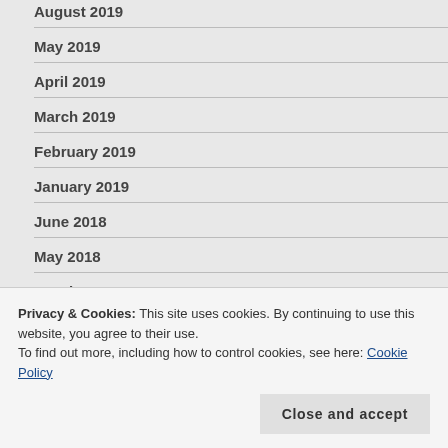August 2019
May 2019
April 2019
March 2019
February 2019
January 2019
June 2018
May 2018
March 2018
February 2018
Privacy & Cookies: This site uses cookies. By continuing to use this website, you agree to their use.
To find out more, including how to control cookies, see here: Cookie Policy
Close and accept
April 2017